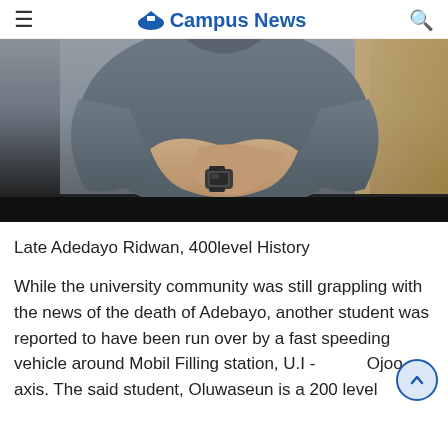Campus News
[Figure (photo): Photo of a person wearing a grey t-shirt with arms crossed, wearing a watch, seated in front of a light background. Only the torso is visible.]
Late Adedayo Ridwan, 400level History
While the university community was still grappling with the news of the death of Adebayo, another student was reported to have been run over by a fast speeding vehicle around Mobil Filling station, U.I - Ojoo axis. The said student, Oluwaseun is a 200 level